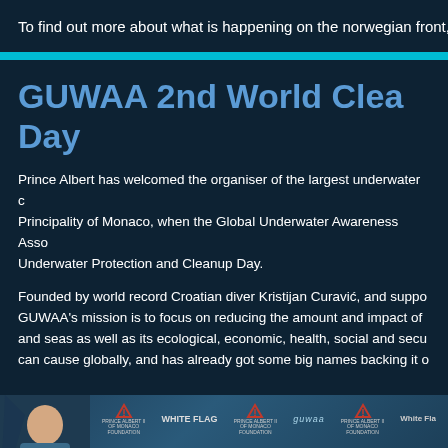To find out more about what is happening on the norwegian front, ple
GUWAA 2nd World Cleanup Day
Prince Albert has welcomed the organiser of the largest underwater cleanup to the Principality of Monaco, when the Global Underwater Awareness Association hosted its 2nd World Underwater Protection and Cleanup Day.
Founded by world record Croatian diver Kristijan Curavić, and supported by many, GUWAA's mission is to focus on reducing the amount and impact of waste in oceans and seas as well as its ecological, economic, health, social and security impact it can cause globally, and has already got some big names backing it o
[Figure (photo): Photo showing a person at an event with sponsor logos including White Flag, GUWAA, and Prince Albert II of Monaco Foundation displayed on a backdrop]